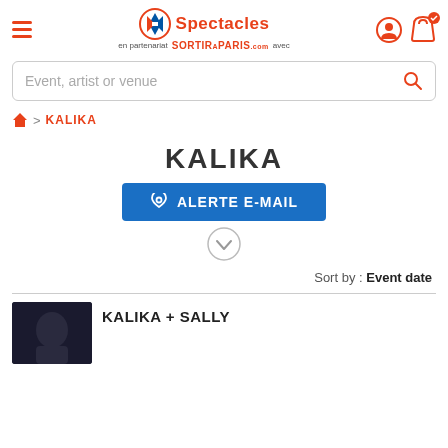Carrefour Spectacles en partenariat avec SortirAParis.com
Event, artist or venue
🏠 > KALIKA
KALIKA
ALERTE E-MAIL
Sort by : Event date
KALIKA + SALLY